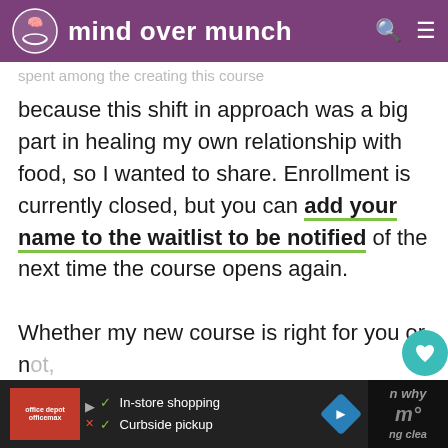mind over munch
spent among the creating this course
because this shift in approach was a big part in healing my own relationship with food, so I wanted to share. Enrollment is currently closed, but you can add your name to the waitlist to be notified of the next time the course opens again.

Whether my new course is right for you or not, I hope these considerations I've shared can help you explore your own
[Figure (screenshot): Advertisement banner at bottom: Office Depot/OfficeMax ad with In-store shopping and Curbside pickup options, navigation arrow icon, and partially visible content on the right]